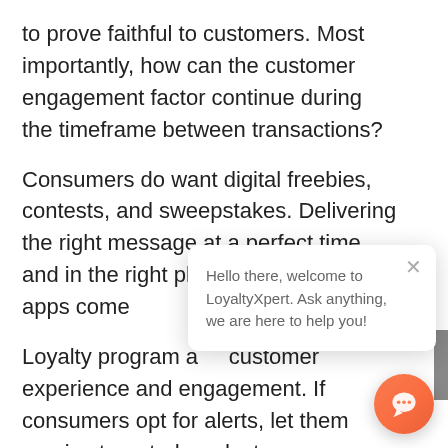to prove faithful to customers. Most importantly, how can the customer engagement factor continue during the timeframe between transactions?
Consumers do want digital freebies, contests, and sweepstakes. Delivering the right message at a perfect time and in the right place can help loyalty apps come
Loyalty program ap customer experience and engagement. If consumers opt for alerts, let them receive targeted product recommendations,
[Figure (screenshot): Chat popup overlay with close button (×) and message: 'Hello there, welcome to LoyaltyXpert. Ask anything, we are here to help you!' along with an orange chat bubble button in the bottom-right corner.]